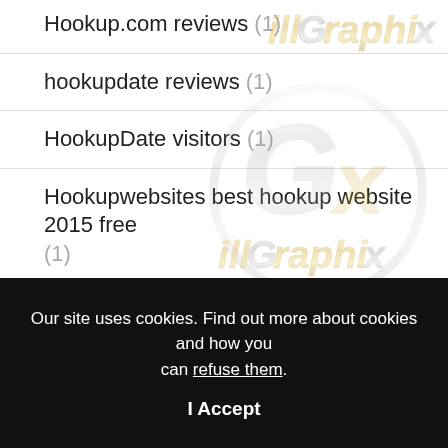Hookup.com reviews (1)
hookupdate reviews (1)
HookupDate visitors (1)
Hookupwebsites best hookup website 2015 free (1)
Hornet kupon (1)
Hornet Zaloguj si? (1)
[Figure (logo): illGraphix watermark logo with metallic silver and gold lettering appearing multiple times as a tiled/overlapping watermark across the page]
Our site uses cookies. Find out more about cookies and how you can refuse them.
I Accept